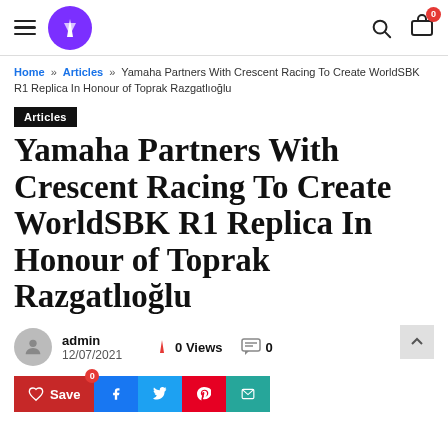Yamaha Partners With Crescent Racing To Create WorldSBK R1 Replica In Honour of Toprak Razgatlıoğlu — site header with logo, search, cart
Home » Articles » Yamaha Partners With Crescent Racing To Create WorldSBK R1 Replica In Honour of Toprak Razgatlıoğlu
Articles
Yamaha Partners With Crescent Racing To Create WorldSBK R1 Replica In Honour of Toprak Razgatlıoğlu
admin
12/07/2021
0 Views
0